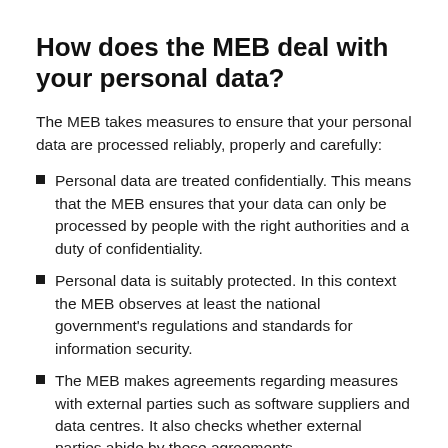How does the MEB deal with your personal data?
The MEB takes measures to ensure that your personal data are processed reliably, properly and carefully:
Personal data are treated confidentially. This means that the MEB ensures that your data can only be processed by people with the right authorities and a duty of confidentiality.
Personal data is suitably protected. In this context the MEB observes at least the national government's regulations and standards for information security.
The MEB makes agreements regarding measures with external parties such as software suppliers and data centres. It also checks whether external parties abide by these agreements.